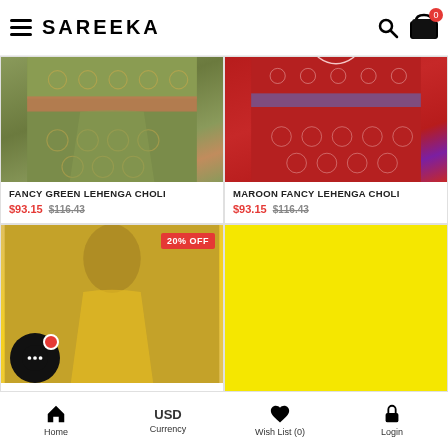SAREEKA
[Figure (photo): Green printed lehenga choli product photo]
FANCY GREEN LEHENGA CHOLI
$93.15  $116.43
[Figure (photo): Maroon printed lehenga choli product photo]
MAROON FANCY LEHENGA CHOLI
$93.15  $116.43
[Figure (photo): Yellow outfit product photo with 20% OFF badge]
[Figure (illustration): Yellow placeholder cell]
Home   USD Currency   Wish List (0)   Login